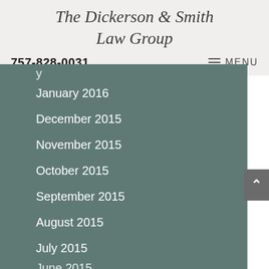The Dickerson & Smith Law Group
757-828-0031
≡ MENU
January 2016
December 2015
November 2015
October 2015
September 2015
August 2015
July 2015
June 2015